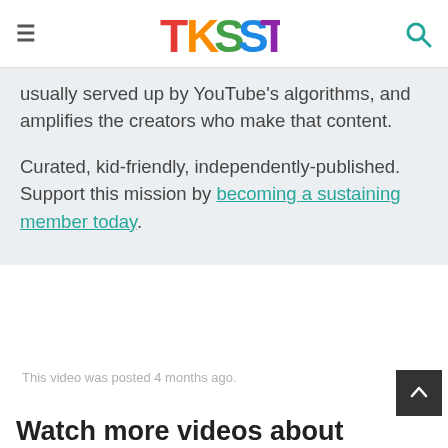TKSST
usually served up by YouTube's algorithms, and amplifies the creators who make that content.
Curated, kid-friendly, independently-published. Support this mission by becoming a sustaining member today.
This video was posted 4 months ago.
Watch more videos about